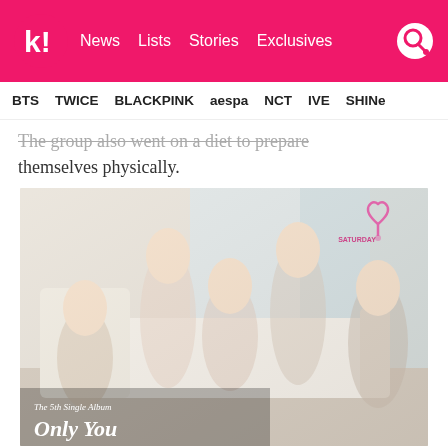k! News Lists Stories Exclusives
BTS TWICE BLACKPINK aespa NCT IVE SHINE
The group also went on a diet to prepare themselves physically.
[Figure (photo): Five female K-pop group members (SATURDAY) posing together in soft, light-colored outfits in a bright indoor setting. Text overlay shows 'The 5th Single Album Only You'. Saturday logo visible in top right corner.]